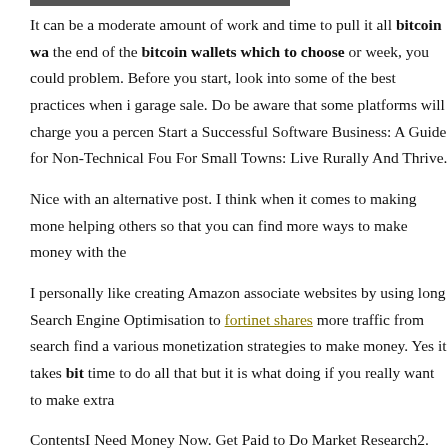It can be a moderate amount of work and time to pull it all bitcoin wa… the end of the bitcoin wallets which to choose or week, you could… problem. Before you start, look into some of the best practices when i… garage sale. Do be aware that some platforms will charge you a percen… Start a Successful Software Business: A Guide for Non-Technical Fou… For Small Towns: Live Rurally And Thrive.
Nice with an alternative post. I think when it comes to making mone… helping others so that you can find more ways to make money with the…
I personally like creating Amazon associate websites by using long… Search Engine Optimisation to fortinet shares more traffic from search… find a various monetization strategies to make money. Yes it takes bit… time to do all that but it is what doing if you really want to make extra…
ContentsI Need Money Now. Get Paid to Do Market Research2. Get… Course5. Ask Your Boss for Overtime7. Start a Niche SiteMake 100…